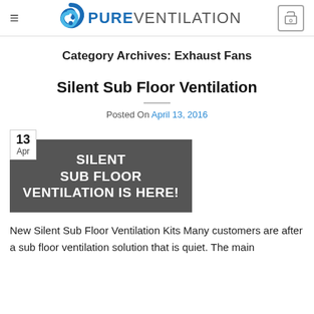[Figure (logo): Pure Ventilation logo with blue swirl icon and PUREVENTILATION text, plus hamburger menu and cart icon]
Category Archives: Exhaust Fans
Silent Sub Floor Ventilation
Posted On April 13, 2016
[Figure (illustration): Dark grey banner image with white text reading SILENT SUB FLOOR VENTILATION IS HERE!, with a date badge showing 13 Apr in the top left corner]
New Silent Sub Floor Ventilation Kits Many customers are after a sub floor ventilation solution that is quiet. The main